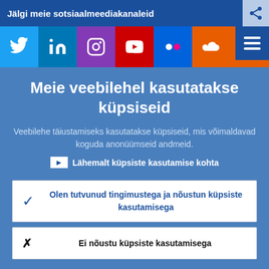Jälgi meie sotsiaalmeediakanaleid
[Figure (screenshot): Social media icons row: Twitter (blue), LinkedIn (dark blue), Instagram (purple), YouTube (red), Flickr (blue), SoundCloud (orange), RSS (orange)]
Meie veebilehel kasutatakse küpsiseid
Veebilehe täiustamiseks kasutatakse küpsiseid, mis võimaldavad koguda anonüümseid andmeid.
Lähemalt küpsiste kasutamise kohta
Olen tutvunud tingimustega ja nõustun küpsiste kasutamisega
Ei nõustu küpsiste kasutamisega